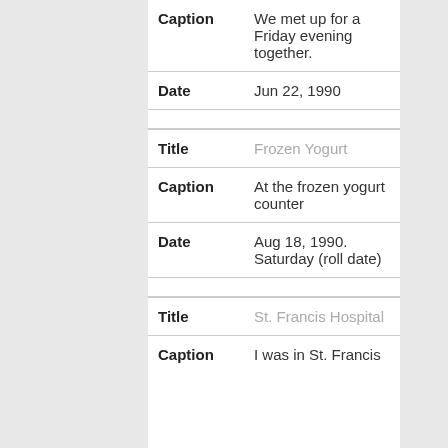| Field | Value |
| --- | --- |
| Caption | We met up for a Friday evening together. |
| Date | Jun 22, 1990 |
| Title | Frozen Yogurt |
| Caption | At the frozen yogurt counter |
| Date | Aug 18, 1990. Saturday (roll date) |
| Title | St. Francis Hospital |
| Caption | I was in St. Francis |